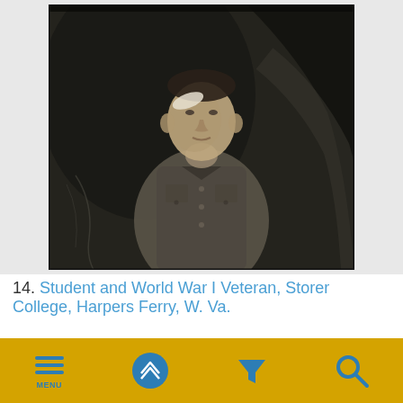[Figure (photo): Black and white historical photograph of a young man in a World War I era military uniform, seated against a dark draped background. The photo appears to be a tintype or early photographic print with some damage visible.]
14. Student and World War I Veteran, Storer College, Harpers Ferry, W. Va.
IDNO:
022606
[Figure (other): Golden/yellow navigation toolbar at bottom with four icons: hamburger menu labeled MENU, upward chevron arrow in circle, funnel/filter icon, and magnifying glass search icon. All icons are in blue on golden background.]